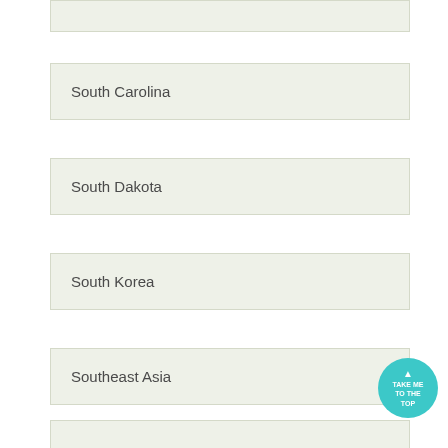South Carolina
South Dakota
South Korea
Southeast Asia